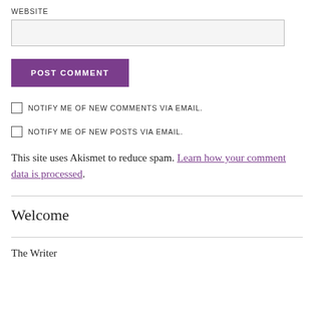WEBSITE
POST COMMENT
NOTIFY ME OF NEW COMMENTS VIA EMAIL.
NOTIFY ME OF NEW POSTS VIA EMAIL.
This site uses Akismet to reduce spam. Learn how your comment data is processed.
Welcome
The Writer